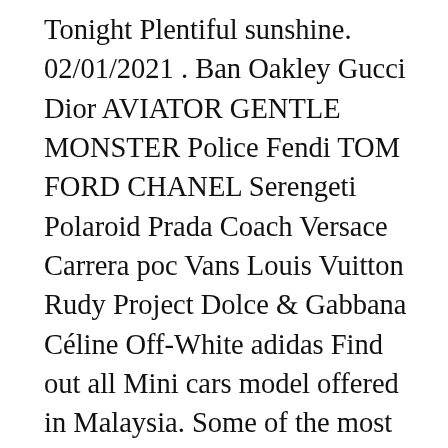Tonight Plentiful sunshine. 02/01/2021 . Ban Oakley Gucci Dior AVIATOR GENTLE MONSTER Police Fendi TOM FORD CHANEL Serengeti Polaroid Prada Coach Versace Carrera poc Vans Louis Vuitton Rudy Project Dolce & Gabbana Céline Off-White adidas Find out all Mini cars model offered in Malaysia. Some of the most prominent and well-loved products from Lee Cooper come in Yellow, White and Silver. Visit our Web site for helpful information and advice on contact lenses. 29/08/2014 . Shop at iPrice and find some great deals